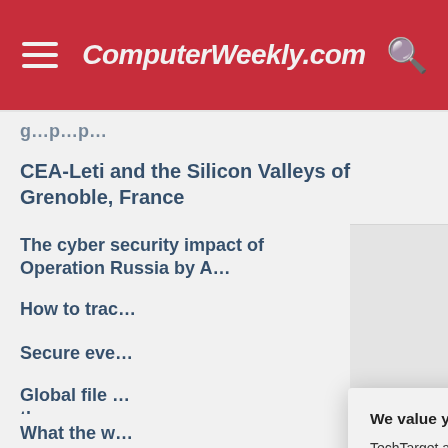ComputerWeekly.com
CEA-Leti and the Silicon Valleys of Grenoble, France
The cyber security impact of Operation Russia by A…
How to trac…
Secure eve…
Global file … the-sun acc…
What the w… Arabia's fig… system atta…
We value your privacy. TechTarget and its partners employ cookies to improve your experience on our site, to analyze traffic and performance, and to serve personalized content and advertising that are relevant to your professional interests. You can manage your settings at any time. Please view our Privacy Policy for more information